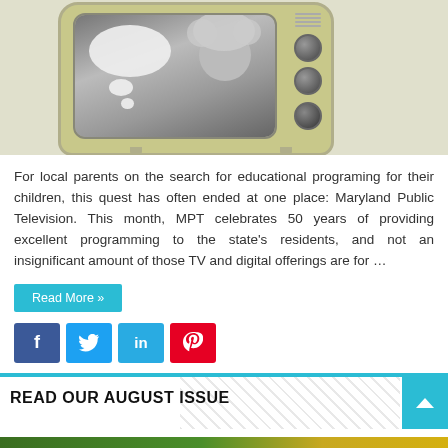[Figure (illustration): Vintage television set showing a black and white image of a woman with a thought bubble, on a yellow-green colored TV body with knobs on the right side.]
For local parents on the search for educational programing for their children, this quest has often ended at one place: Maryland Public Television. This month, MPT celebrates 50 years of providing excellent programming to the state's residents, and not an insignificant amount of those TV and digital offerings are for …
Read More »
[Figure (infographic): Social share buttons: Facebook (f), Twitter (bird icon), LinkedIn (in), Pinterest (P) in a row.]
READ OUR AUGUST ISSUE
[Figure (photo): Partial photo strip at bottom showing green foliage and yellow element.]